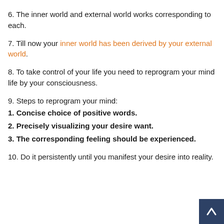6. The inner world and external world works corresponding to each.
7. Till now your inner world has been derived by your external world.
8. To take control of your life you need to reprogram your mind life by your consciousness.
9. Steps to reprogram your mind:
1. Concise choice of positive words.
2. Precisely visualizing your desire want.
3. The corresponding feeling should be experienced.
10. Do it persistently until you manifest your desire into reality.